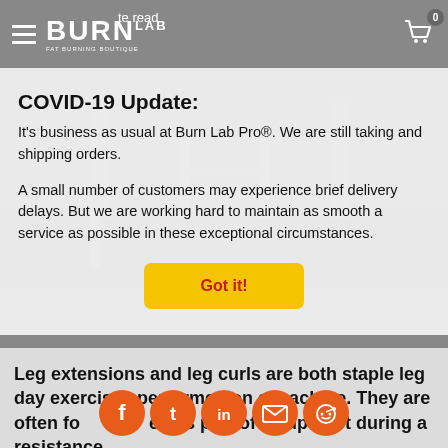te read
COVID-19 Update:
It's business as usual at Burn Lab Pro®. We are still taking and shipping orders.
A small number of customers may experience brief delivery delays. But we are working hard to maintain as smooth a service as possible in these exceptional circumstances.
Got it!
[Figure (photo): Gym/fitness machine photo in dark tones]
Leg extensions and leg curls are both staple leg day exercises performed on a machine. They are often performed as part of a superset during a resistance
[Figure (infographic): Social media sharing icons: Facebook, Twitter, LinkedIn, Email, Reddit — orange circular buttons]